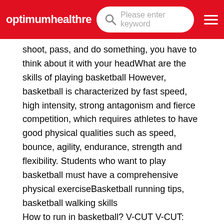optimumhealthre | Please enter keyword
shoot, pass, and do something, you have to think about it with your headWhat are the skills of playing basketball However, basketball is characterized by fast speed, high intensity, strong antagonism and fierce competition, which requires athletes to have good physical qualities such as speed, bounce, agility, endurance, strength and flexibility. Students who want to play basketball must have a comprehensive physical exerciseBasketball running tips, basketball walking skills
How to run in basketball? V-CUT V-CUT: when the defender closely follows you, you should push towards the inner basket at a slower speed to confuse the opponent: if the defender keeps pestering you in the L-cut, he will also take precautions after you have used V-CUT several timesBasketball skills